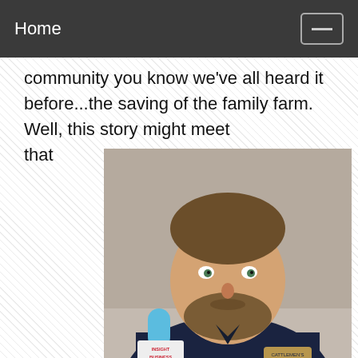Home
community you know we've all heard it before...the saving of the family farm. Well, this story might meet that
[Figure (photo): A man with a beard wearing a navy blue polo shirt with a 'Cattlemen's Heritage' logo, being interviewed with a microphone labeled 'Insight Business']